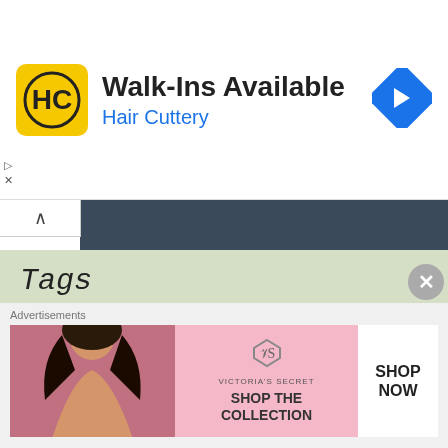[Figure (infographic): Hair Cuttery advertisement banner: yellow HC logo icon on left, 'Walk-Ins Available' in bold, 'Hair Cuttery' in blue, blue diamond direction arrow icon on right]
Tags
2Ts in a Pod
advanced
advanced vocabulary
B1
B2
B2+
barcelona
C1
C2
CAE
CAE writing part 2
Cambridge C1 Advanced
Cambridge C2 Proficiency
Cambridge exams
Advertisements
[Figure (infographic): Victoria's Secret advertisement banner with model on left, VS logo and 'SHOP THE COLLECTION' text in center, 'SHOP NOW' button on right]